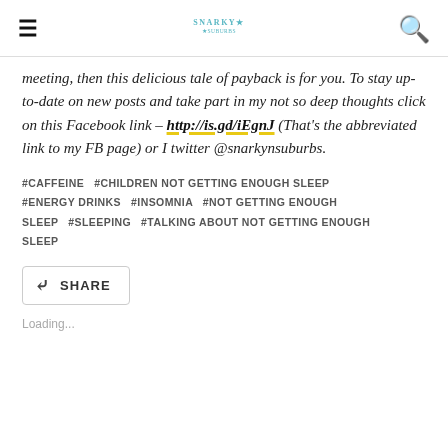Snarky in the Suburbs
meeting, then this delicious tale of payback is for you. To stay up-to-date on new posts and take part in my not so deep thoughts click on this Facebook link – http://is.gd/iEgnJ (That's the abbreviated link to my FB page) or I twitter @snarkynsuburbs.
#CAFFEINE  #CHILDREN NOT GETTING ENOUGH SLEEP  #ENERGY DRINKS  #INSOMNIA  #NOT GETTING ENOUGH SLEEP  #SLEEPING  #TALKING ABOUT NOT GETTING ENOUGH SLEEP
SHARE
Loading...